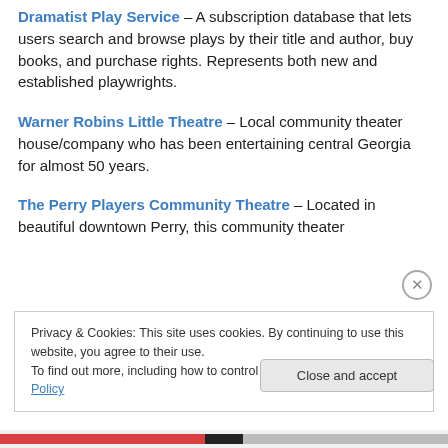Dramatist Play Service – A subscription database that lets users search and browse plays by their title and author, buy books, and purchase rights. Represents both new and established playwrights.
Warner Robins Little Theatre – Local community theater house/company who has been entertaining central Georgia for almost 50 years.
The Perry Players Community Theatre – Located in beautiful downtown Perry, this community theater
Privacy & Cookies: This site uses cookies. By continuing to use this website, you agree to their use. To find out more, including how to control cookies, see here: Cookie Policy
Close and accept